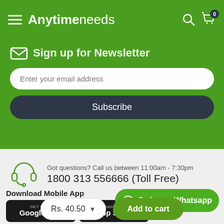Anytimeneeds
Sign up for Newsletter
Enter your email address
Subscribe
Got questions? Call us between 11:00am - 7:30pm
1800 313 556666 (Toll Free)
Download Mobile App
GET IT ON Google Play
Available on the App Store
Order on Whatsapp
Rs. 40.50
Add to cart